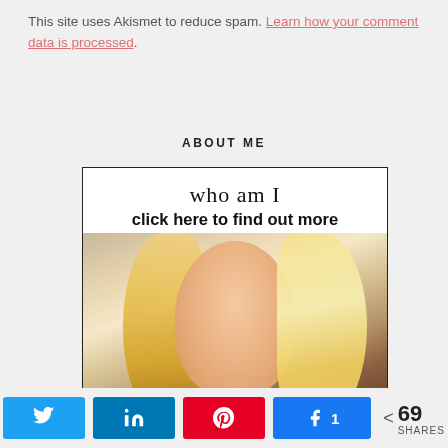This site uses Akismet to reduce spam. Learn how your comment data is processed.
ABOUT ME
[Figure (photo): About Me section with cursive 'who am I' text, 'click here to find out more', and a photo of a blonde woman smiling]
Twitter share | LinkedIn share | Pinterest share | Facebook share 1 | 69 SHARES